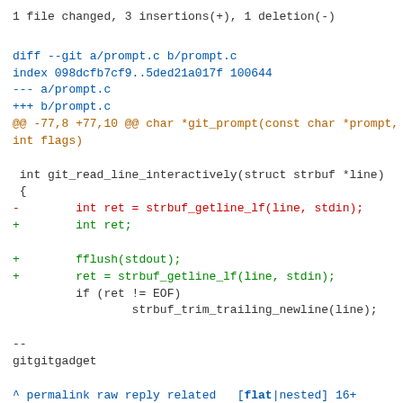1 file changed, 3 insertions(+), 1 deletion(-)
diff --git a/prompt.c b/prompt.c
index 098dcfb7cf9..5ded21a017f 100644
--- a/prompt.c
+++ b/prompt.c
@@ -77,8 +77,10 @@ char *git_prompt(const char *prompt, int flags)

 int git_read_line_interactively(struct strbuf *line)
 {
-        int ret = strbuf_getline_lf(line, stdin);
+        int ret;

+        fflush(stdout);
+        ret = strbuf_getline_lf(line, stdin);
         if (ret != EOF)
                 strbuf_trim_trailing_newline(line);

--
gitgitgadget

^ permalink raw reply related   [flat|nested] 16+
messages in thread
* Re: [PATCH v2 1/2] Refactor code asking the user for input interactively
  2020-04-10 11:27   ` [PATCH v2 1/2] Refactor code asking the user for input interactively Johannes